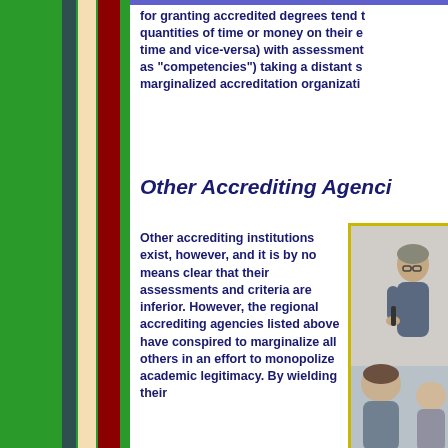[Figure (photo): Green panel on left side with book spines visible]
for granting accredited degrees tend to quantities of time or money on their e time and vice-versa) with assessment as "competencies") taking a distant s marginalized accreditation organizati
Other Accrediting Agenci
Other accrediting institutions exist, however, and it is by no means clear that their assessments and criteria are inferior. However, the regional accrediting agencies listed above have conspired to marginalize all others in an effort to monopolize academic legitimacy. By wielding their
[Figure (photo): Photo of people, appears to show two or more individuals in an indoor setting]